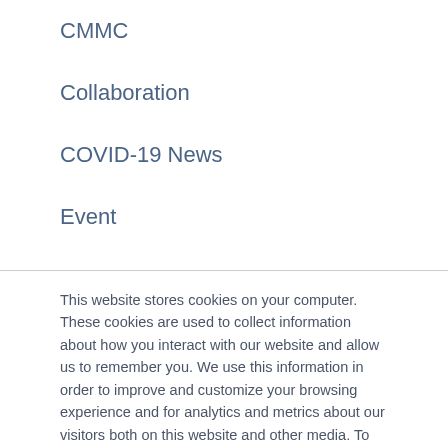CMMC
Collaboration
COVID-19 News
Event
Infrastructure
Managed Services
Security
SharePoint
This website stores cookies on your computer. These cookies are used to collect information about how you interact with our website and allow us to remember you. We use this information in order to improve and customize your browsing experience and for analytics and metrics about our visitors both on this website and other media. To find out more about the cookies we use, see our Privacy Policy
Accept